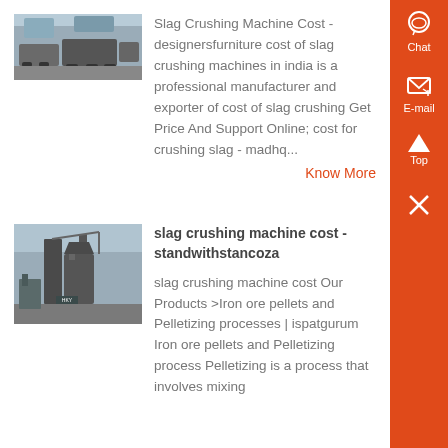[Figure (photo): Industrial crushing machines/trucks at a facility, top card thumbnail]
Slag Crushing Machine Cost - designersfurniture cost of slag crushing machines in india is a professional manufacturer and exporter of cost of slag crushing Get Price And Support Online; cost for crushing slag - madhq...
Know More
[Figure (photo): Industrial slag crushing facility/structure, second card thumbnail]
slag crushing machine cost - standwithstancoza
slag crushing machine cost Our Products >Iron ore pellets and Pelletizing processes | ispatgurum Iron ore pellets and Pelletizing process Pelletizing is a process that involves mixing